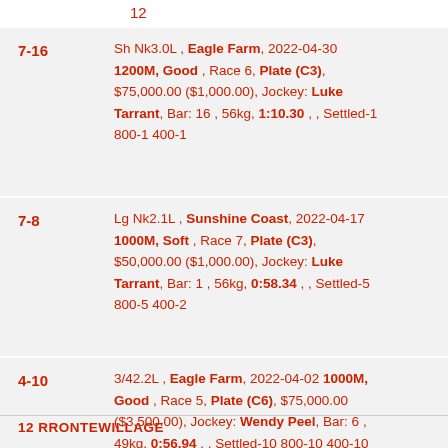12
7-16 | Sh Nk3.0L , Eagle Farm, 2022-04-30 1200M, Good , Race 6, Plate (C3), $75,000.00 ($1,000.00), Jockey: Luke Tarrant, Bar: 16 , 56kg, 1:10.30 , , Settled-1 800-1 400-1
7-8 | Lg Nk2.1L , Sunshine Coast, 2022-04-17 1000M, Soft , Race 7, Plate (C3), $50,000.00 ($1,000.00), Jockey: Luke Tarrant, Bar: 1 , 56kg, 0:58.34 , , Settled-5 800-5 400-2
4-10 | 3/42.2L , Eagle Farm, 2022-04-02 1000M, Good , Race 5, Plate (C6), $75,000.00 ($3,500.00), Jockey: Wendy Peel, Bar: 6 , 49kg, 0:56.94 , , Settled-10 800-10 400-10
12 RRONTEWILLAGE